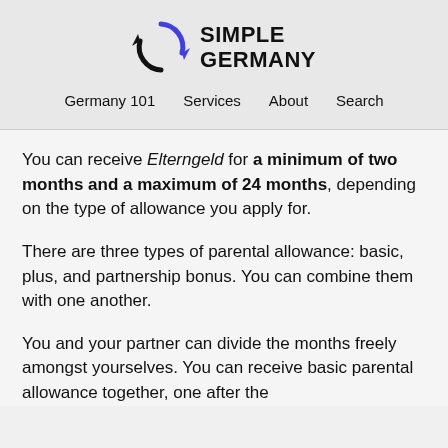[Figure (logo): Simple Germany logo with a circular arrow icon and the text SIMPLE GERMANY in bold uppercase]
Germany 101   Services   About   Search
You can receive Elterngeld for a minimum of two months and a maximum of 24 months, depending on the type of allowance you apply for.
There are three types of parental allowance: basic, plus, and partnership bonus. You can combine them with one another.
You and your partner can divide the months freely amongst yourselves. You can receive basic parental allowance together, one after the